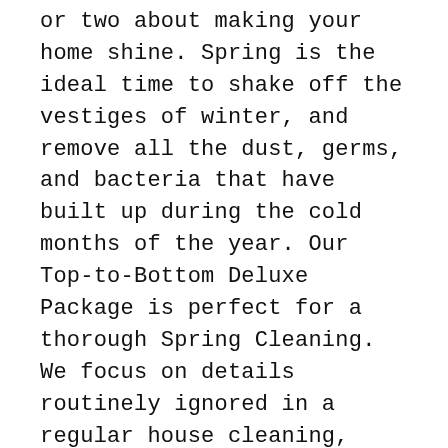or two about making your home shine. Spring is the ideal time to shake off the vestiges of winter, and remove all the dust, germs, and bacteria that have built up during the cold months of the year. Our Top-to-Bottom Deluxe Package is perfect for a thorough Spring Cleaning. We focus on details routinely ignored in a regular house cleaning, like hard-to-clean spaces, or spaces in a home that are not subject to the wear and tear of daily activity. Dura-Shine Clean specializes in deep cleaning, window washing, and everything required to make sure the home looks new this spring. But if you feel like getting started with the little details required for a full Spring Cleaning, here are some things to keep in mind: